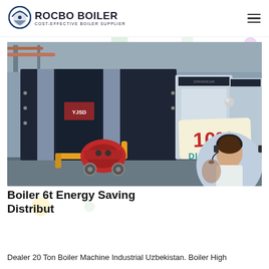ROCBO BOILER — COST-EFFECTIVE BOILER SUPPLIER
[Figure (photo): Industrial boilers in a factory setting — large dark blue/grey boiler in foreground with red burner and yellow pipes, white boilers in background. A 10% DISCOUNT badge is overlaid in the lower-right area of the image. A customer service representative (woman with headset) is shown in a circular inset at the bottom right.]
Boiler 6t Energy Saving Distribut
Dealer 20 Ton Boiler Machine Industrial Uzbekistan. Boiler High